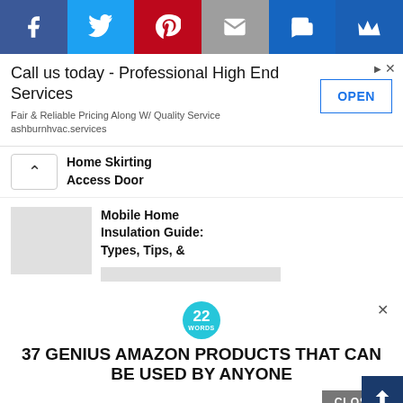[Figure (infographic): Social media sharing bar with icons: Facebook (blue), Twitter (light blue), Pinterest (red), Email (grey), SMS (dark blue), Crown/King (blue)]
Call us today - Professional High End Services
Fair & Reliable Pricing Along W/ Quality Service
ashburnhvac.services
OPEN
Home Skirting Access Door
Mobile Home Insulation Guide: Types, Tips, &
[Figure (infographic): 22 Words badge (teal circle) and advertisement: 37 GENIUS AMAZON PRODUCTS THAT CAN BE USED BY ANYONE with CLOSE button and scroll-up button]
37 GENIUS AMAZON PRODUCTS THAT CAN BE USED BY ANYONE
CLOSE